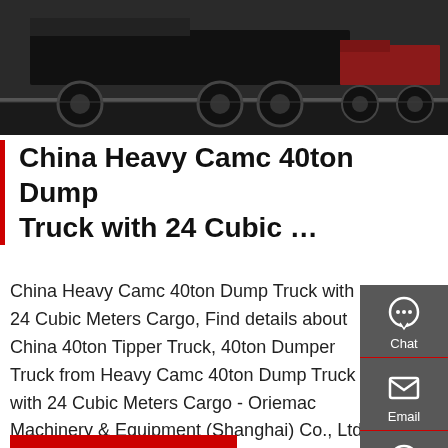[Figure (photo): Dark-colored heavy dump trucks parked in a row on a paved surface, seen from the side/rear angle]
China Heavy Camc 40ton Dump Truck with 24 Cubic …
China Heavy Camc 40ton Dump Truck with 24 Cubic Meters Cargo, Find details about China 40ton Tipper Truck, 40ton Dumper Truck from Heavy Camc 40ton Dump Truck with 24 Cubic Meters Cargo - Oriemac Machinery & Equipment (Shanghai) Co., Ltd.
[Figure (photo): Blue CAMC heavy truck cab with open door, close-up view]